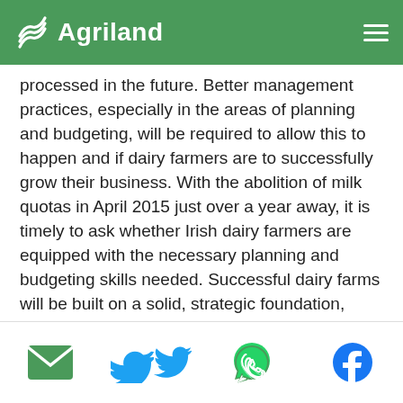Agriland
processed in the future. Better management practices, especially in the areas of planning and budgeting, will be required to allow this to happen and if dairy farmers are to successfully grow their business. With the abolition of milk quotas in April 2015 just over a year away, it is timely to ask whether Irish dairy farmers are equipped with the necessary planning and budgeting skills needed. Successful dairy farms will be built on a solid, strategic foundation, which will require long-term thinking. But the farmer will also need appropriate technical expertise to make tactical – short-term –
Social share icons: email, twitter, whatsapp, facebook